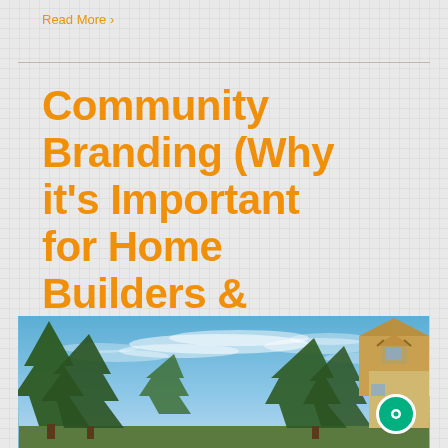Read More >
Community Branding (Why it’s Important for Home Builders & Developers)
[Figure (photo): Exterior photo showing tall green evergreen trees against a blue sky with wispy clouds, and the roofline of a house visible on the right side with tan and brown siding and a decorative gabled dormer.]